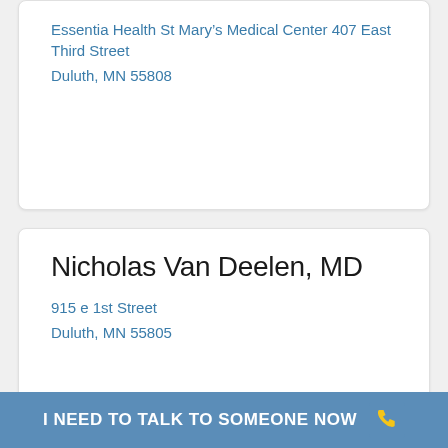Essentia Health St Maryâs Medical Center 407 East Third Street
Duluth, MN 55808
Nicholas Van Deelen, MD
915 e 1st Street
Duluth, MN 55805
Charles Tabor, MD
330 N 8th Avenue E
Duluth, MN 55805
I NEED TO TALK TO SOMEONE NOW